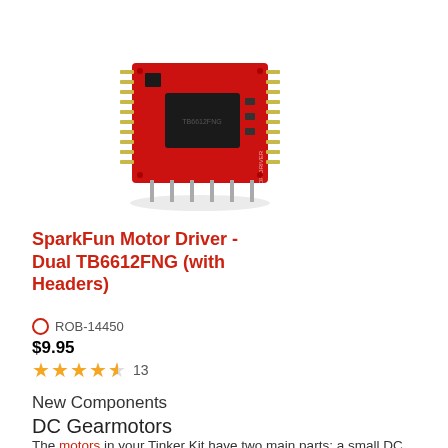[Figure (photo): SparkFun Motor Driver Dual TB6612FNG with Headers - a red PCB board with pins/headers and a motor driver IC chip, mounted on through-hole pins]
SparkFun Motor Driver - Dual TB6612FNG (with Headers)
ROB-14450
$9.95
★★★★½ 13
New Components
DC Gearmotors
The motors in your Tinker Kit have two main parts: a small DC motor that spins quickly and a plastic gearbox that gears down that output from the hobby motor so that it is slower but stronger,